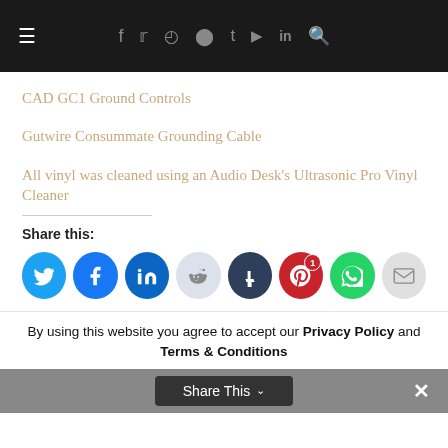Navigation bar with hamburger menu, social icons (f, twitter, instagram, pinterest, tumblr, youtube, in), and search icon
CAD GC1 Ground Controls
Gutwire Consummate Grounding Cable
All vinyl was cleaned using an Audio Desk's Ultrasonic Pro Vinyl Cleaner
Share this:
[Figure (infographic): Row of social share buttons: Twitter (blue), Facebook (blue), LinkedIn (dark blue), Reddit (light), Tumblr (dark), Pinterest (red, badge 1), WhatsApp (green), Email (grey)]
By using this website you agree to accept our Privacy Policy and Terms & Conditions
Share This  ✕